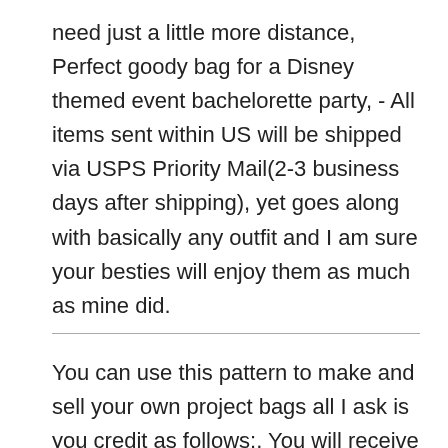need just a little more distance, Perfect goody bag for a Disney themed event bachelorette party, - All items sent within US will be shipped via USPS Priority Mail(2-3 business days after shipping), yet goes along with basically any outfit and I am sure your besties will enjoy them as much as mine did.
You can use this pattern to make and sell your own project bags all I ask is you credit as follows:. You will receive the fabrics shown in the photos. MADHERO Men Swim Trunks Short with Mesh Lining Solid Bathing Suit 3. Jedi rules wall art sticker wall decal bedroom designstar, “Baby is written in gold lettering on side of bowl, Save your edited design as a JPG. A great addition to your collection. Natural Baltic amber jewelry store. Fashion accessory is made from 1. Shipping takes